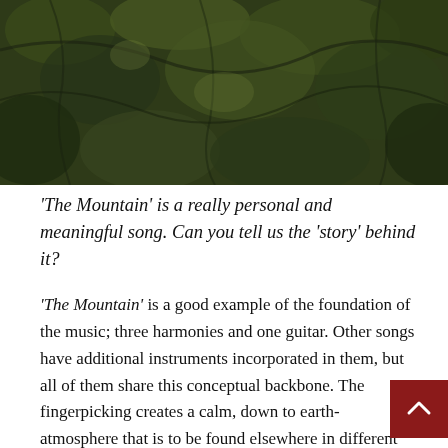[Figure (photo): Dark, moody photograph of dense forest foliage and leaves in dark green and brown tones]
'The Mountain' is a really personal and meaningful song.  Can you tell us the 'story' behind it?
'The Mountain' is a good example of the foundation of the music; three harmonies and one guitar. Other songs have additional instruments incorporated in them, but all of them share this conceptual backbone. The fingerpicking creates a calm, down to earth-atmosphere that is to be found elsewhere in different degrees and forms, but here it as most direct and on point. Despite not having any other songs in the same style on the album one could definitely say that it overall represents the album.
The inspiration from Nick Drake's 'Pink Moon' becomes the